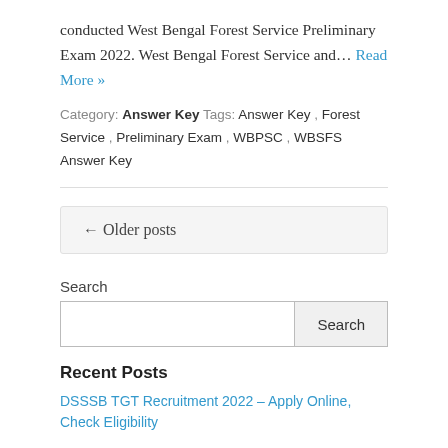conducted West Bengal Forest Service Preliminary Exam 2022. West Bengal Forest Service and… Read More »
Category: Answer Key Tags: Answer Key, Forest Service, Preliminary Exam, WBPSC, WBSFS Answer Key
← Older posts
Search
Recent Posts
DSSSB TGT Recruitment 2022 – Apply Online, Check Eligibility